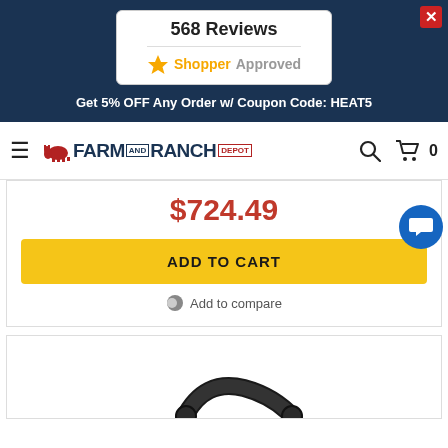[Figure (screenshot): Reviews popup card showing '568 Reviews' and ShopperApproved logo with star icon]
Get 5% OFF Any Order w/ Coupon Code: HEAT5
[Figure (logo): Farm and Ranch Depot logo with cow icon, search icon, cart icon and 0 count]
$724.49
ADD TO CART
Add to compare
[Figure (photo): Partial product image showing what appears to be a black cable or hose at the bottom of the page]